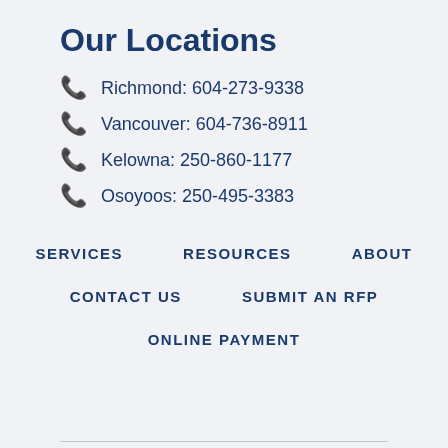Our Locations
Richmond: 604-273-9338
Vancouver: 604-736-8911
Kelowna: 250-860-1177
Osoyoos: 250-495-3383
SERVICES   RESOURCES   ABOUT
CONTACT US   SUBMIT AN RFP
ONLINE PAYMENT